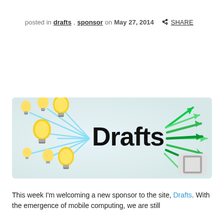posted in drafts, sponsor on May 27, 2014  SHARE
[Figure (illustration): Drafts app promotional banner showing yellow lightbulbs on the left connected by blue lines converging to the word 'Drafts' in bold black text, with green arrows radiating outward to the right, and the Drafts app icon (rounded square with bracket symbol) in bottom right corner.]
This week I'm welcoming a new sponsor to the site, Drafts. With the emergence of mobile computing, we are still